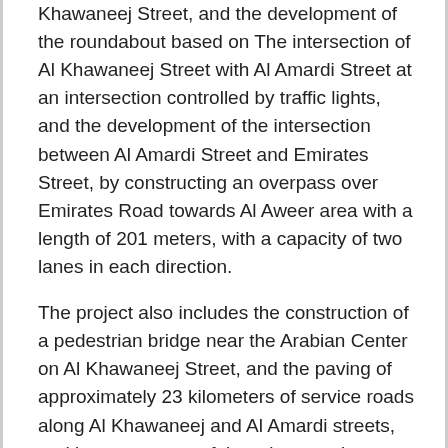Khawaneej Street, and the development of the roundabout based on The intersection of Al Khawaneej Street with Al Amardi Street at an intersection controlled by traffic lights, and the development of the intersection between Al Amardi Street and Emirates Street, by constructing an overpass over Emirates Road towards Al Aweer area with a length of 201 meters, with a capacity of two lanes in each direction.
The project also includes the construction of a pedestrian bridge near the Arabian Center on Al Khawaneej Street, and the paving of approximately 23 kilometers of service roads along Al Khawaneej and Al Amardi streets, and improvements of three intersections on Algeria Street by converting them into intersections controlled by lights, besides the works related to the project. Such as lighting, rainwater drainage, traffic signs, road planning, and road safety protection works.
Airport Street Development project